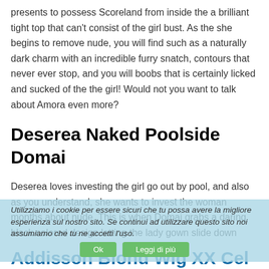presents to possess Scoreland from inside the a brilliant tight top that can't consist of the girl bust. As the she begins to remove nude, you will find such as a naturally dark charm with an incredible furry snatch, contours that never ever stop, and you will boobs that is certainly licked and sucked of the the girl! Would not you want to talk about Amora even more?
Deserea Naked Poolside Domai
Deserea loves investing the girl go out by pool, and also as you understand, she wants to invest the woman months about nude. This is when Domai grabs a daring black colored design letting the lady gown slide down whenever you are she lies by pool and you will ponders how well life is. I'm able to associate, seeing their nude helped me feel better.
Utilizziamo i cookie per essere sicuri che tu possa avere la migliore esperienza sul nostro sito. Se continui ad utilizzare questo sito noi assumiamo che tu ne accetti l'uso.
Addisson Blond Wig XX Cel